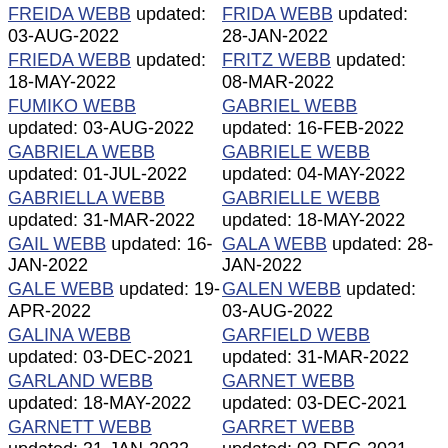FREIDA WEBB updated: 03-AUG-2022
FRIDA WEBB updated: 28-JAN-2022
FRIEDA WEBB updated: 18-MAY-2022
FRITZ WEBB updated: 08-MAR-2022
FUMIKO WEBB updated: 03-AUG-2022
GABRIEL WEBB updated: 16-FEB-2022
GABRIELA WEBB updated: 01-JUL-2022
GABRIELE WEBB updated: 04-MAY-2022
GABRIELLA WEBB updated: 31-MAR-2022
GABRIELLE WEBB updated: 18-MAY-2022
GAIL WEBB updated: 16-JAN-2022
GALA WEBB updated: 28-JAN-2022
GALE WEBB updated: 19-APR-2022
GALEN WEBB updated: 03-AUG-2022
GALINA WEBB updated: 03-DEC-2021
GARFIELD WEBB updated: 31-MAR-2022
GARLAND WEBB updated: 18-MAY-2022
GARNET WEBB updated: 03-DEC-2021
GARNETT WEBB updated: 31-JAN-2022
GARRET WEBB updated: 03-DEC-2021